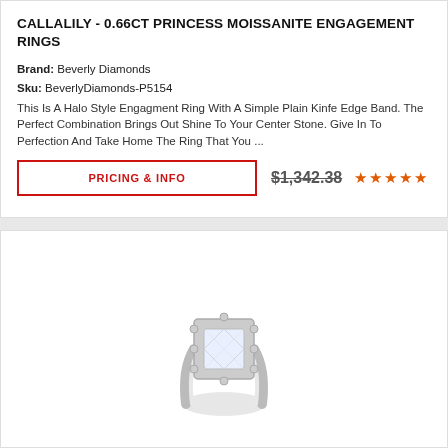CALLALILY - 0.66CT PRINCESS MOISSANITE ENGAGEMENT RINGS
Brand: Beverly Diamonds
Sku: BeverlyDiamonds-P5154
This Is A Halo Style Engagment Ring With A Simple Plain Kinfe Edge Band. The Perfect Combination Brings Out Shine To Your Center Stone. Give In To Perfection And Take Home The Ring That You ...
PRICING & INFO
$1,342.38
[Figure (photo): Princess cut moissanite engagement ring with halo setting, silver/white gold band, viewed from above at an angle]